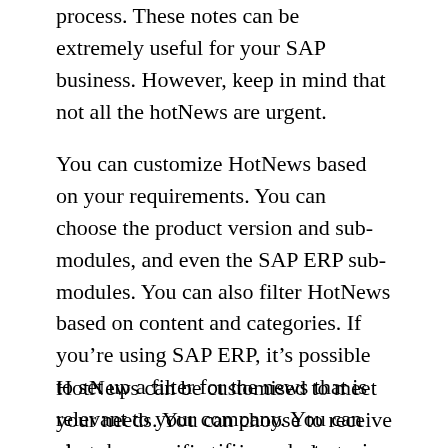process. These notes can be extremely useful for your SAP business. However, keep in mind that not all the hotNews are urgent.
You can customize HotNews based on your requirements. You can choose the product version and sub-modules, and even the SAP ERP sub-modules. You can also filter HotNews based on content and categories. If you’re using SAP ERP, it’s possible to set up a filter for the news that is relevant to your company. You can also choose a specific product version and software components. You can select the sub-module based on what you’re interested in.
HotNews can be customised to meet your needs. You can choose to receive alerts on specific topics or select a sub-module for the latest SAP ERP news. You can also customise your settings to keep up and